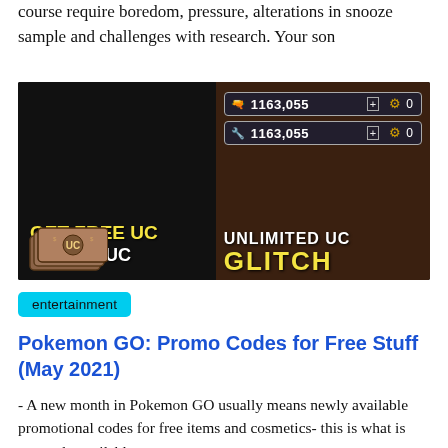course require boredom, pressure, alterations in snooze sample and challenges with research. Your son
[Figure (screenshot): Screenshot of a PUBG UC glitch promotional image showing 'GET FREE UC 1163055 UC' text in yellow/white on dark background with UC currency icons showing 1163,055 amounts and 'UNLIMITED UC GLITCH' text]
entertainment
Pokemon GO: Promo Codes for Free Stuff (May 2021)
- A new month in Pokemon GO usually means newly available promotional codes for free items and cosmetics- this is what is currently available.